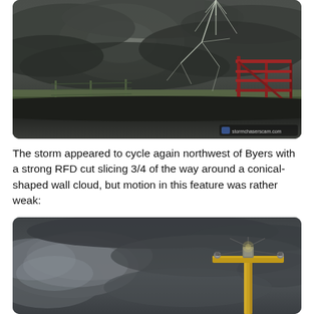[Figure (photo): View from inside a vehicle through a cracked windshield of stormy dark clouds over a flat rural landscape with green fields and a red metal gate/fence structure visible on the right side. The sky is dark grey and overcast with storm clouds.]
The storm appeared to cycle again northwest of Byers with a strong RFD cut slicing 3/4 of the way around a conical-shaped wall cloud, but motion in this feature was rather weak:
[Figure (photo): Storm chaser photograph of a dark stormy sky with heavy grey clouds. A yellow utility/power pole with crossbar and equipment is visible in the right side of the frame. The cloud formations show a possible wall cloud or storm structure on the left portion of the image.]